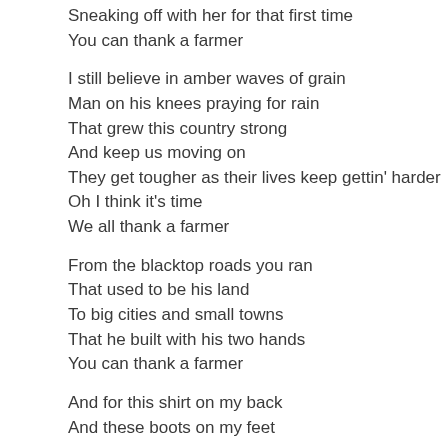Sneaking off with her for that first time
You can thank a farmer
I still believe in amber waves of grain
Man on his knees praying for rain
That grew this country strong
And keep us moving on
They get tougher as their lives keep gettin' harder
Oh I think it's time
We all thank a farmer
From the blacktop roads you ran
That used to be his land
To big cities and small towns
That he built with his two hands
You can thank a farmer
And for this shirt on my back
And these boots on my feet